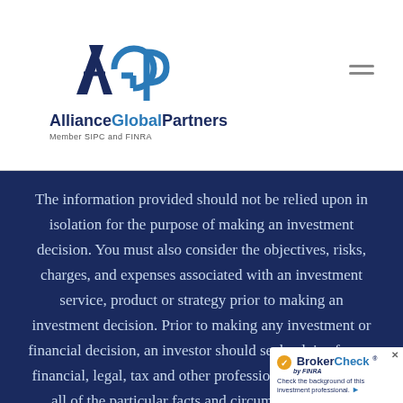[Figure (logo): Alliance Global Partners logo with AGP monogram and 'Member SIPC and FINRA' tagline]
The information provided should not be relied upon in isolation for the purpose of making an investment decision. You must also consider the objectives, risks, charges, and expenses associated with an investment service, product or strategy prior to making an investment decision. Prior to making any investment or financial decision, an investor should seek advice from a financial, legal, tax and other professional that consider all of the particular facts and circumstances of an investor's situation. The opinions expressed a...
[Figure (logo): BrokerCheck by FINRA badge overlay in bottom-right corner with text 'Check the background of this investment professional.']